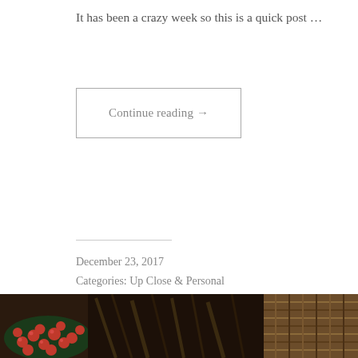It has been a crazy week so this is a quick post …
Continue reading →
December 23, 2017
Categories: Up Close & Personal
Tags: Christmas in London 2017, elna'sdiary, London Events, London living, Reflections
1 Comment
[Figure (photo): Bottom strip showing red berries and dried plant materials/basket weave texture]